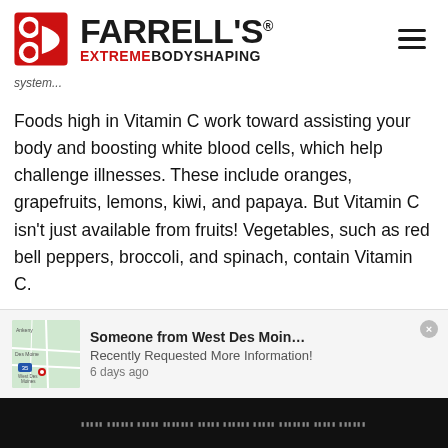[Figure (logo): Farrell's Extreme Bodyshaping logo with red stylized figure icon and bold black/red text]
system...
Foods high in Vitamin C work toward assisting your body and boosting white blood cells, which help challenge illnesses. These include oranges, grapefruits, lemons, kiwi, and papaya. But Vitamin C isn't just available from fruits! Vegetables, such as red bell peppers, broccoli, and spinach, contain Vitamin C.
Vitamin B-6 is a critical nutrient that assists with the
[Figure (screenshot): Popup notification: Someone from West Des Moin... Recently Requested More Information! 6 days ago, with a map thumbnail showing Ankeny, Des Moines, and West Des Moines area]